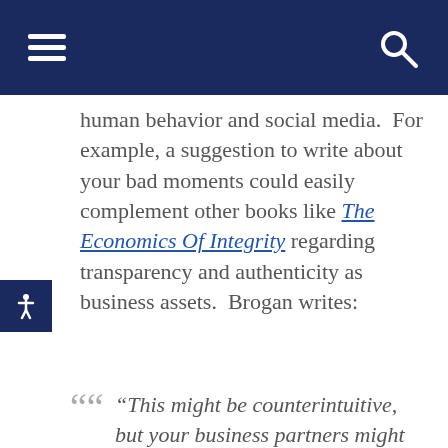[Navigation bar with hamburger menu and search icon]
human behavior and social media.  For example, a suggestion to write about your bad moments could easily complement other books like The Economics Of Integrity regarding transparency and authenticity as business assets.  Brogan writes:
“This might be counterintuitive, but your business partners might occasionally appreciate knowing when something is going tough for you…but in the event of a public-facing product or service issue